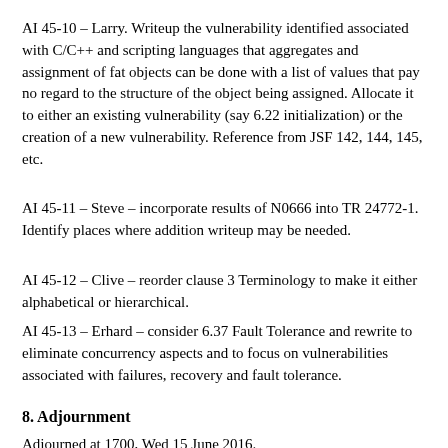AI 45-10 – Larry. Writeup the vulnerability identified associated with C/C++ and scripting languages that aggregates and assignment of fat objects can be done with a list of values that pay no regard to the structure of the object being assigned. Allocate it to either an existing vulnerability (say 6.22 initialization) or the creation of a new vulnerability. Reference from JSF 142, 144, 145, etc.
AI 45-11 – Steve – incorporate results of N0666 into TR 24772-1. Identify places where addition writeup may be needed.
AI 45-12 – Clive – reorder clause 3 Terminology to make it either alphabetical or hierarchical.
AI 45-13 – Erhard – consider 6.37 Fault Tolerance and rewrite to eliminate concurrency aspects and to focus on vulnerabilities associated with failures, recovery and fault tolerance.
8. Adjournment
Adjourned at 1700, Wed 15 June 2016.